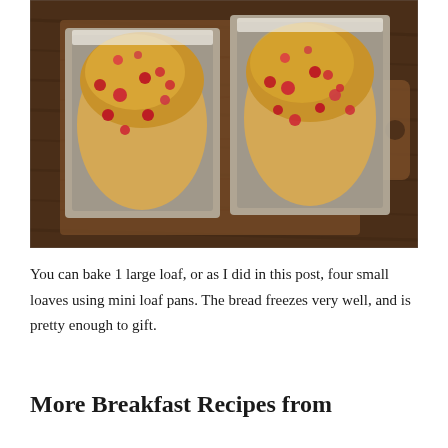[Figure (photo): Two loaves of cranberry bread in metallic loaf pans placed on a wooden cutting board, viewed from above. The loaves are golden brown with red cranberries visible throughout.]
You can bake 1 large loaf, or as I did in this post, four small loaves using mini loaf pans. The bread freezes very well, and is pretty enough to gift.
More Breakfast Recipes from